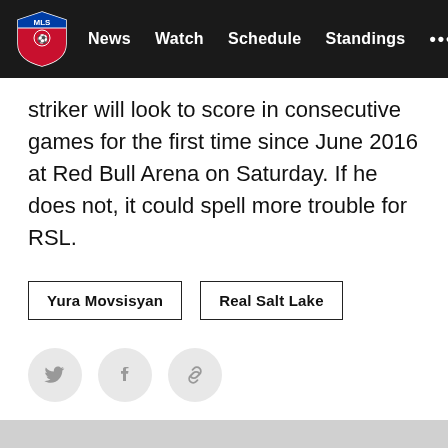MLS | News  Watch  Schedule  Standings  ...
striker will look to score in consecutive games for the first time since June 2016 at Red Bull Arena on Saturday. If he does not, it could spell more trouble for RSL.
Yura Movsisyan
Real Salt Lake
[Figure (other): Twitter, Facebook, and link share social media icon buttons in grey circles]